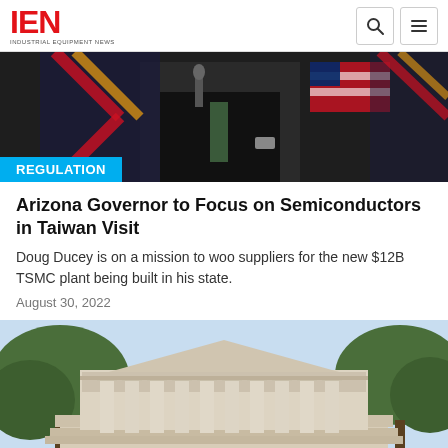IEN — Industrial Equipment News
[Figure (photo): Photo of a politician in a suit at a podium with Arizona state flag and US flag in background]
REGULATION
Arizona Governor to Focus on Semiconductors in Taiwan Visit
Doug Ducey is on a mission to woo suppliers for the new $12B TSMC plant being built in his state.
August 30, 2022
[Figure (photo): Photo of the US Supreme Court building facade with columns and trees in foreground]